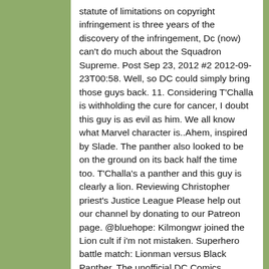statute of limitations on copyright infringement is three years of the discovery of the infringement, Dc (now) can't do much about the Squadron Supreme. Post Sep 23, 2012 #2 2012-09-23T00:58. Well, so DC could simply bring those guys back. 11. Considering T'Challa is withholding the cure for cancer, I doubt this guy is as evil as him. We all know what Marvel character is..Ahem, inspired by Slade. The panther also looked to be on the ground on its back half the time too. T'Challa's a panther and this guy is clearly a lion. Reviewing Christopher priest's Justice League Please help out our channel by donating to our Patreon page. @bluehope: Kilmongwr joined the Lion cult if i'm not mistaken. Superhero battle match: Lionman versus Black Panther. The unofficial DC Comics Subreddit A place for fans of DC's comics, graphic novels, movies, and anything else related to one of the largest comic book publishers in the world and home of the World's Greatest Superheroes! Kingtheropod. I mean Lion-O's culture is like a mixture of the renaissance and the Roman empire combined. They appeared in Multiversity and two members are part of the Multiversal